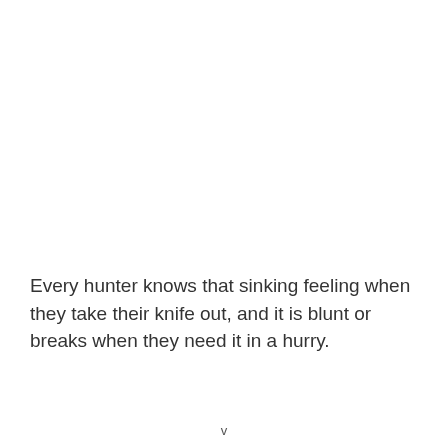Every hunter knows that sinking feeling when they take their knife out, and it is blunt or breaks when they need it in a hurry.
v